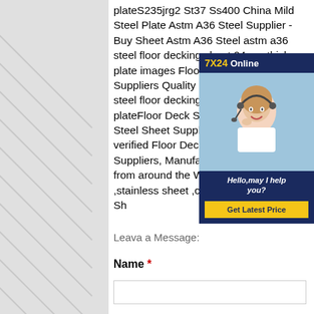plateS235jrg2 St37 Ss400 China Mild Steel Plate Astm A36 Steel Supplier - Buy Sheet Astm A36 Steel astm a36 steel floor decking sheet 24mm thick plate images Floor Deck Steel Sheet Suppliers Quality Floor Deck astm a36 steel floor decking sheet 24mm thick plateFloor Deck Steel Sheet , Floor Deck Steel Sheet Suppliers Directory - Find verified Floor Deck Steel Sheet Suppliers, Manufacturers, Companies from around the World at sheet steel ,stainless sheet ,color steel sheet , Steel Sh
[Figure (infographic): 7X24 Online popup with a woman wearing a headset (customer service representative), text 'Hello,may I help you?' and a 'Get Latest Price' button on a dark navy blue background]
Leava a Message:
Name *